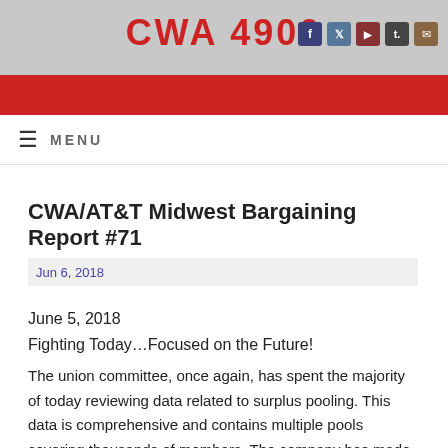CWA 4900
MENU
CWA/AT&T Midwest Bargaining Report #71
Jun 6, 2018
June 5, 2018
Fighting Today…Focused on the Future!
The union committee, once again, has spent the majority of today reviewing data related to surplus pooling. This data is comprehensive and contains multiple pools covering thousands of members. The company has made it overly difficult to review this information since they have made numerous pooling changes in